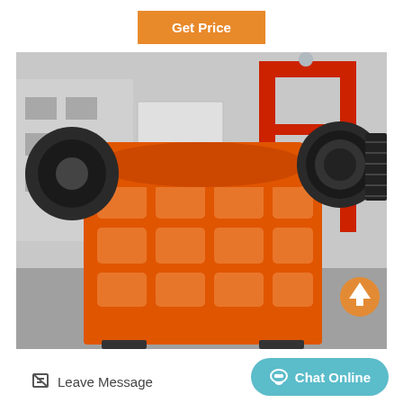Get Price
[Figure (photo): Large orange jaw crusher machine with black flywheel pulleys on both sides, photographed outdoors in an industrial yard with buildings and a red crane structure in the background.]
Leave Message
Chat Online